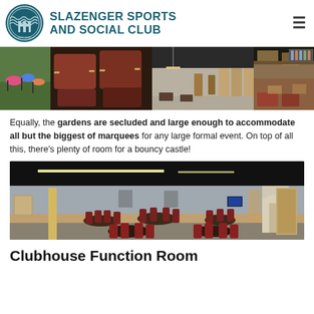SLAZENGER SPORTS AND SOCIAL CLUB
[Figure (photo): Strip of five photos showing club grounds, seating, interior room, bar area, and furniture]
Equally, the gardens are secluded and large enough to accommodate all but the biggest of marquees for any large formal event. On top of all this, there's plenty of room for a bouncy castle!
[Figure (photo): Interior photo of the Clubhouse Function Room showing tables, red chairs, dark ceiling, and wooden panelling]
Clubhouse Function Room